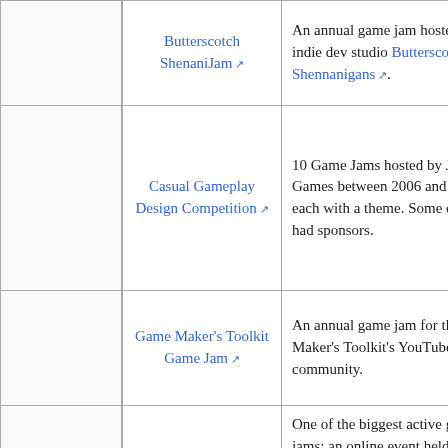|  | Name | Description |
| --- | --- | --- |
|  | Butterscotch ShenaniJam | An annual game jam hosted by indie dev studio Butterscotch Shennanigans. |
|  | Casual Gameplay Design Competition | 10 Game Jams hosted by Jay Is Games between 2006 and 2012, each with a theme. Some of them had sponsors. |
|  | Game Maker's Toolkit Game Jam | An annual game jam for the Game Maker's Toolkit's YouTube community. |
|  | Ludum Dare | One of the biggest active game jams; an online event held twice a year where... |